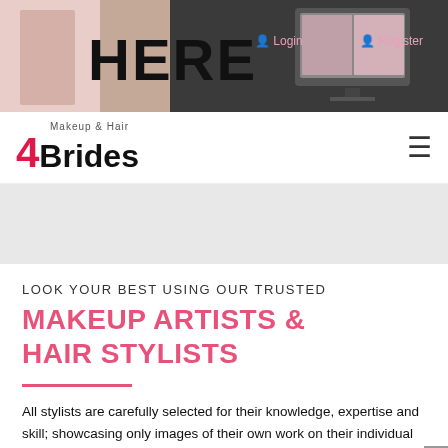[Figure (screenshot): Website banner showing fashion image with 'HERE' text, computer monitor graphic, and Login/Register navigation links]
[Figure (logo): Makeup & Hair 4Brides logo with pink number 4 and bold black Brides text]
LOOK YOUR BEST USING OUR TRUSTED
MAKEUP ARTISTS & HAIR STYLISTS
All stylists are carefully selected for their knowledge, expertise and skill; showcasing only images of their own work on their individual profiles. They specialise in Makeup & Hair 4 Brides and the entire bridal party.